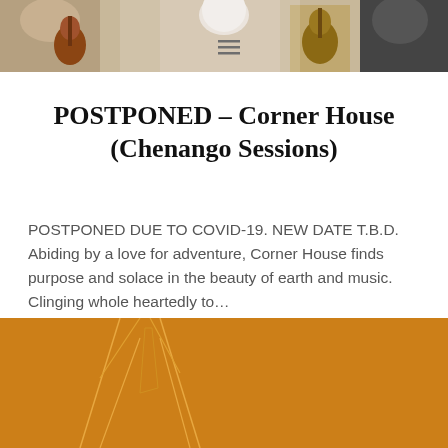[Figure (photo): Top banner showing musicians with guitars in an outdoor setting, partially visible at top of page]
POSTPONED – Corner House (Chenango Sessions)
POSTPONED DUE TO COVID-19. NEW DATE T.B.D. Abiding by a love for adventure, Corner House finds purpose and solace in the beauty of earth and music. Clinging whole heartedly to…
READ MORE
[Figure (illustration): Bottom section showing orange background with line drawing of suit/jacket on left, a vertical strip in center, and a Mozart Banjo – Joe Morley Project album cover on the right with text 'celebrating his new release']